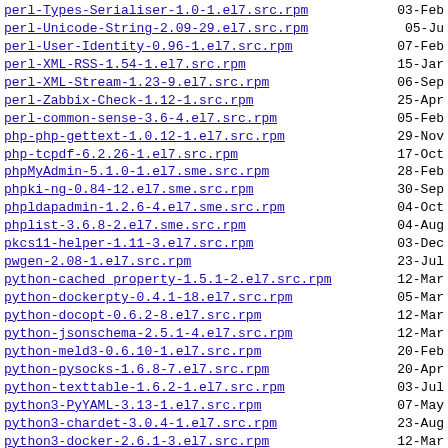perl-Types-Serialiser-1.0-1.el7.src.rpm  03-Feb
perl-Unicode-String-2.09-29.el7.src.rpm  05-Jun
perl-User-Identity-0.96-1.el7.src.rpm  07-Feb
perl-XML-RSS-1.54-1.el7.src.rpm  15-Jan
perl-XML-Stream-1.23-9.el7.src.rpm  06-Sep
perl-Zabbix-Check-1.12-1.src.rpm  25-Apr
perl-common-sense-3.6-4.el7.src.rpm  05-Feb
php-php-gettext-1.0.12-1.el7.src.rpm  29-Nov
php-tcpdf-6.2.26-1.el7.src.rpm  17-Oct
phpMyAdmin-5.1.0-1.el7.sme.src.rpm  28-Feb
phpki-ng-0.84-12.el7.sme.src.rpm  30-Sep
phpldapadmin-1.2.6-4.el7.sme.src.rpm  04-Oct
phplist-3.6.8-2.el7.sme.src.rpm  04-Aug
pkcs11-helper-1.11-3.el7.src.rpm  03-Dec
pwgen-2.08-1.el7.src.rpm  23-Jul
python-cached_property-1.5.1-2.el7.src.rpm  12-Mar
python-dockerpty-0.4.1-18.el7.src.rpm  05-Mar
python-docopt-0.6.2-8.el7.src.rpm  12-Mar
python-jsonschema-2.5.1-4.el7.src.rpm  12-Mar
python-meld3-0.6.10-1.el7.src.rpm  20-Feb
python-pysocks-1.6.8-7.el7.src.rpm  20-Apr
python-texttable-1.6.2-1.el7.src.rpm  03-Jul
python3-PyYAML-3.13-1.el7.src.rpm  07-May
python3-chardet-3.0.4-1.el7.src.rpm  23-Aug
python3-docker-2.6.1-3.el7.src.rpm  12-Mar
python3-docker-pycreds-0.2.1-2.el7.src.rpm  12-Mar
python3-idna-2.10-1.el7.src.rpm  28-Nov
python3-requests-2.14.2-2.el7.src.rpm  30-Nov
python3-six-1.14.0-3.el7.src.rpm  22-Apr
python3-urllib3-1.25.6-2.el7.src.rpm  02-Oct
python3-websocket-client-0.47.0-2.el7.src.rpm  12-Mar